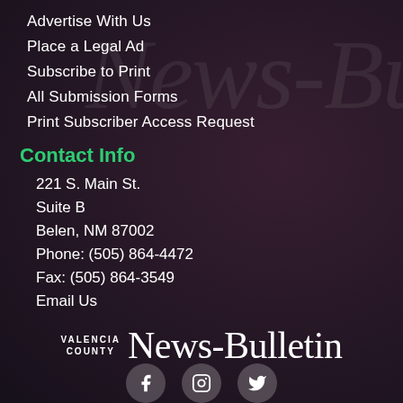Advertise With Us
Place a Legal Ad
Subscribe to Print
All Submission Forms
Print Subscriber Access Request
Contact Info
221 S. Main St.
Suite B
Belen, NM 87002
Phone: (505) 864-4472
Fax: (505) 864-3549
Email Us
[Figure (logo): Valencia County News-Bulletin logo with social media icons below]